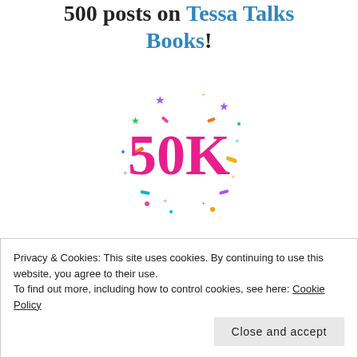500 posts on Tessa Talks Books!
[Figure (illustration): Celebratory 50K badge graphic with colorful confetti and stars surrounding bold pink '50K' text]
Congratulations! Your site, Tessa Talks Books, passed
Privacy & Cookies: This site uses cookies. By continuing to use this website, you agree to their use.
To find out more, including how to control cookies, see here: Cookie Policy
Close and accept